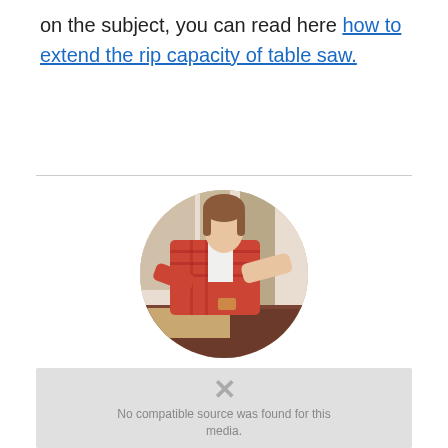on the subject, you can read here how to extend the rip capacity of table saw.
[Figure (photo): Circular profile photo of a woman in a plaid shirt working at a woodworking table, leaning over wood pieces in a workshop setting.]
Woodworking Team
[Figure (screenshot): Video player placeholder showing 'No compatible source was found for this media.' error message with an X icon.]